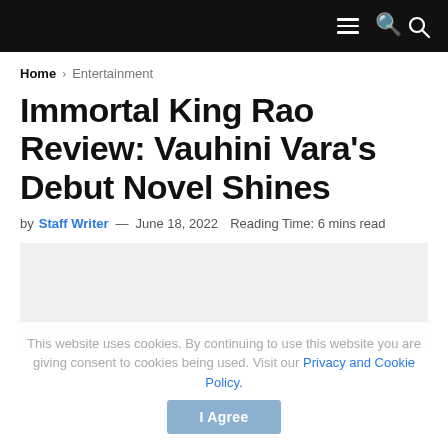Home > Entertainment
Immortal King Rao Review: Vauhini Vara's Debut Novel Shines
by Staff Writer — June 18, 2022  Reading Time: 6 mins read
[Figure (other): Article hero image placeholder (light grey rectangle)]
This website uses cookies. By continuing to use this website you are giving consent to cookies being used. Visit our Privacy and Cookie Policy.
I Agree